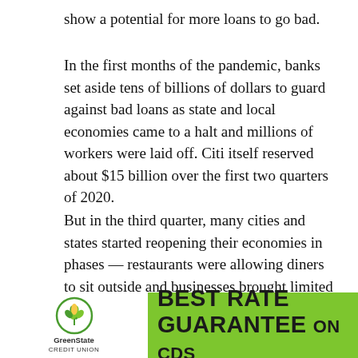show a potential for more loans to go bad.
In the first months of the pandemic, banks set aside tens of billions of dollars to guard against bad loans as state and local economies came to a halt and millions of workers were laid off. Citi itself reserved about $15 billion over the first two quarters of 2020.
But in the third quarter, many cities and states started reopening their economies in phases — restaurants were allowing diners to sit outside and businesses brought limited numbers of workers back to the offices, among other actions. Many economic indicators have markedly improved since the pandemic shutdowns of April and May. For instance, unemployment, albeit still close is dow
[Figure (infographic): GreenState Credit Union advertisement banner at bottom of page. Shows GreenState Credit Union logo on white background on left, and a bright green banner on right with text 'BEST RATE GUARANTEE ON CDs' in large bold black text.]